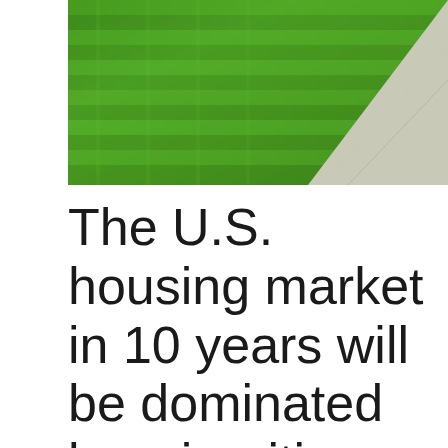[Figure (photo): Aerial or ground-level photo of a manicured green lawn with parallel mowing stripes, and a concrete sidewalk/path visible in the lower right corner.]
The U.S. housing market in 10 years will be dominated by minorities and millennials, says study